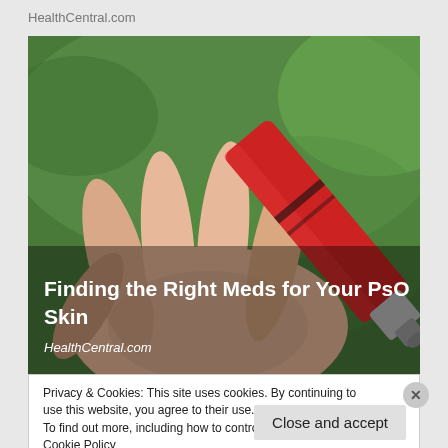HealthCentral.com
[Figure (photo): Close-up photo of a hand being applied cream from a tube, on a green blurred background. White bold overlay text reads 'Finding the Right Meds for Your PsO Skin' and italic text 'HealthCentral.com']
Privacy & Cookies: This site uses cookies. By continuing to use this website, you agree to their use.
To find out more, including how to control cookies, see here: Cookie Policy
Close and accept